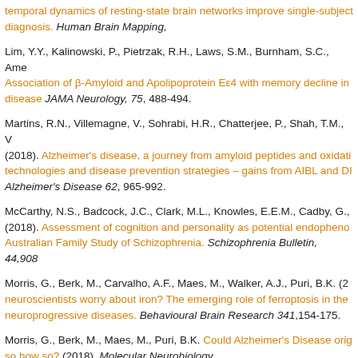temporal dynamics of resting-state brain networks improve single-subject diagnosis. Human Brain Mapping,
Lim, Y.Y., Kalinowski, P., Pietrzak, R.H., Laws, S.M., Burnham, S.C., Ame... Association of β-Amyloid and Apolipoprotein Eε4 with memory decline in disease JAMA Neurology, 75, 488-494.
Martins, R.N., Villemagne, V., Sohrabi, H.R., Chatterjee, P., Shah, T.M., V... (2018). Alzheimer's disease, a journey from amyloid peptides and oxidati... technologies and disease prevention strategies – gains from AIBL and DI... Alzheimer's Disease 62, 965-992.
McCarthy, N.S., Badcock, J.C., Clark, M.L., Knowles, E.E.M., Cadby, G.,... (2018). Assessment of cognition and personality as potential endopheno... Australian Family Study of Schizophrenia. Schizophrenia Bulletin, 44,908...
Morris, G., Berk, M., Carvalho, A.F., Maes, M., Walker, A.J., Puri, B.K. (2... neuroscientists worry about iron? The emerging role of ferroptosis in the neuroprogressive diseases. Behavioural Brain Research 341,154-175.
Morris, G., Berk, M., Maes, M., Puri, B.K. Could Alzheimer's Disease orig... so how so? (2018). Molecular Neurobiology.
Parkin, G.M., Udawela, M., Gibbons, A., Dean, B. (2018). Glutamate tran... are potentially important in the pathophysiology and treatment of schizop...